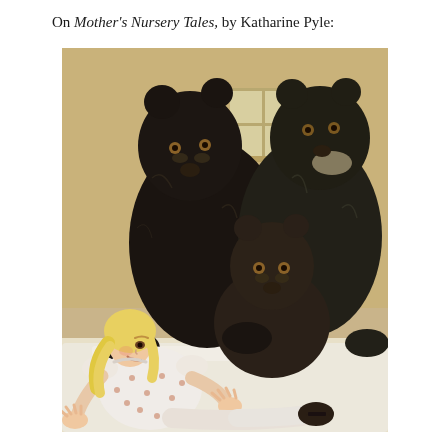On Mother's Nursery Tales, by Katharine Pyle:
[Figure (illustration): Illustration from Mother's Nursery Tales by Katharine Pyle showing Goldilocks sitting up in bed, looking alarmed, while three dark black bears — two large adult bears and one smaller bear cub — loom over her. The scene is set in a bedroom with a window visible in the background. Goldilocks has blonde hair and wears a white dress with a small print pattern. The bears are rendered in dark tones with detailed fur.]